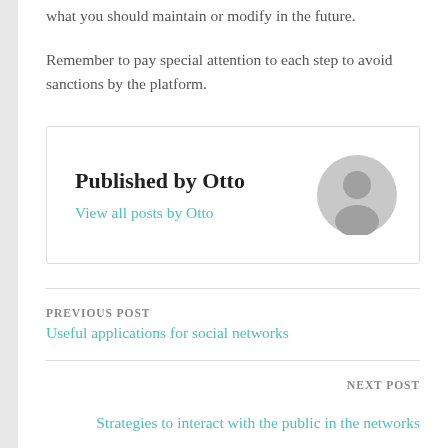what you should maintain or modify in the future.
Remember to pay special attention to each step to avoid sanctions by the platform.
Published by Otto
View all posts by Otto
PREVIOUS POST
Useful applications for social networks
NEXT POST
Strategies to interact with the public in the networks